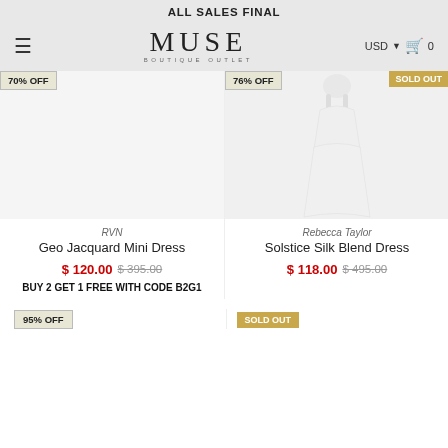ALL SALES FINAL
[Figure (screenshot): MUSE Boutique Outlet navigation bar with hamburger menu, brand logo, USD currency selector, and cart icon showing 0 items]
70% OFF
76% OFF
SOLD OUT
[Figure (photo): Product image area for RVN Geo Jacquard Mini Dress (blank/white background)]
[Figure (photo): Product image of Rebecca Taylor Solstice Silk Blend Dress, white flowing dress on white background]
RVN
Geo Jacquard Mini Dress
$ 120.00  $ 395.00
BUY 2 GET 1 FREE WITH CODE B2G1
Rebecca Taylor
Solstice Silk Blend Dress
$ 118.00  $ 495.00
95% OFF
SOLD OUT